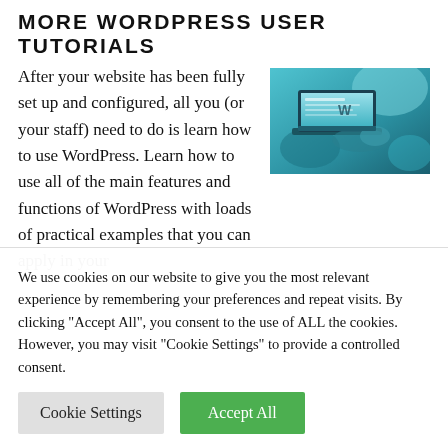MORE WORDPRESS USER TUTORIALS
After your website has been fully set up and configured, all you (or your staff) need to do is learn how to use WordPress. Learn how to use all of the main features and functions of WordPress with loads of practical examples that you can apply in your
[Figure (photo): Blue-tinted photo of a person working on a laptop computer, viewed from the side, on a desk.]
We use cookies on our website to give you the most relevant experience by remembering your preferences and repeat visits. By clicking "Accept All", you consent to the use of ALL the cookies. However, you may visit "Cookie Settings" to provide a controlled consent.